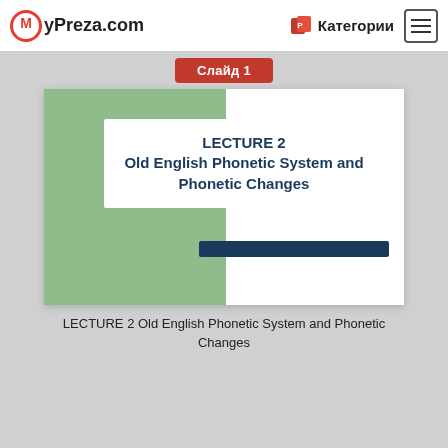MyPreza.com  Категории
Слайд 1
[Figure (illustration): Presentation slide thumbnail showing a green rectangular background with a white title box containing bold teal text 'LECTURE 2 Old English Phonetic System and Phonetic Changes' and a navy horizontal bar at the bottom]
LECTURE 2 Old English Phonetic System and Phonetic Changes